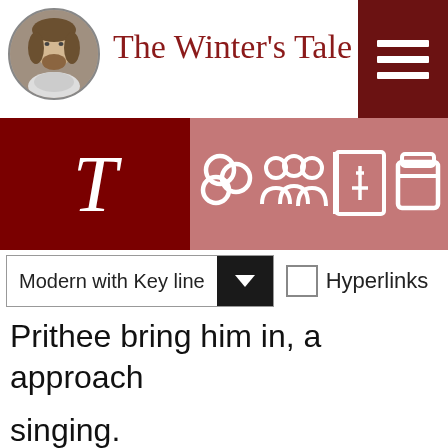The Winter's Tale
[Figure (screenshot): Navigation toolbar with T (text) icon, story icon, characters icon, study guide icon, and jar/archive icon on a dark red and pink background]
Modern with Key line
Hyperlinks
Act 4 > Scene 4
Prithee bring him in, and let him approach singing.
PERDITA
Forewarn him that he use no scurrilous words